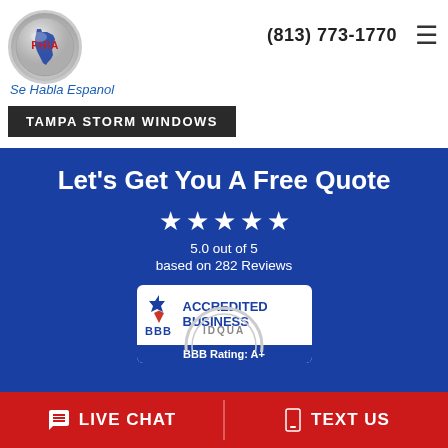[Figure (logo): FHIA circular logo with Florida state outline]
(813) 773-1770
Se Habla Espanol
TAMPA STORM WINDOWS
Let's Get You A Free Quote
5.0 out of 5
based on 282 Reviews
[Figure (logo): BBB Accredited Business badge with A+ rating]
LIVE CHAT
TEXT US